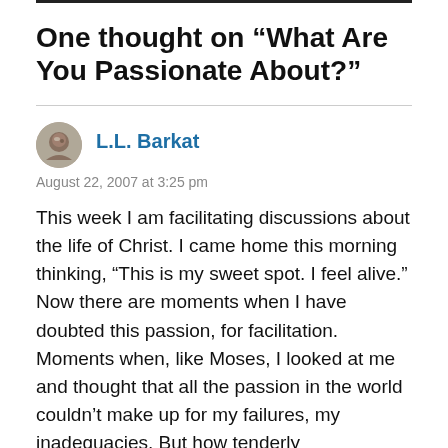One thought on “What Are You Passionate About?”
L.L. Barkat
August 22, 2007 at 3:25 pm
This week I am facilitating discussions about the life of Christ. I came home this morning thinking, “This is my sweet spot. I feel alive.” Now there are moments when I have doubted this passion, for facilitation. Moments when, like Moses, I looked at me and thought that all the passion in the world couldn’t make up for my failures, my inadequacies. But how tenderly